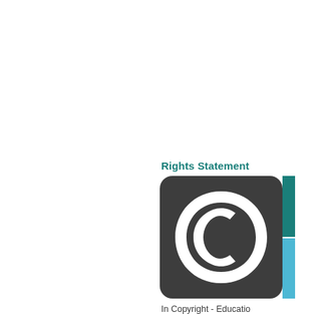[Figure (logo): Rights Statement copyright icon with dark rounded-square background containing a large C symbol, with teal and light blue vertical bars on the right side]
Rights Statement
In Copyright - Educatio